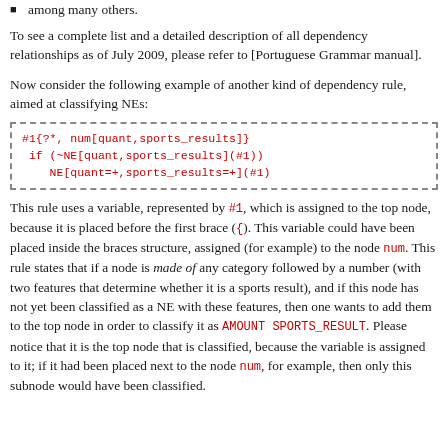among many others.
To see a complete list and a detailed description of all dependency relationships as of July 2009, please refer to [Portuguese Grammar manual].
Now consider the following example of another kind of dependency rule, aimed at classifying NEs:
[Figure (other): Code box with dashed border containing: #1{?*, num[quant,sports_results]} if (~NE[quant,sports_results](#1)) NE[quant=+,sports_results=+](#1)]
This rule uses a variable, represented by #1, which is assigned to the top node, because it is placed before the first brace ({). This variable could have been placed inside the braces structure, assigned (for example) to the node num. This rule states that if a node is made of any category followed by a number (with two features that determine whether it is a sports result), and if this node has not yet been classified as a NE with these features, then one wants to add them to the top node in order to classify it as AMOUNT SPORTS_RESULT. Please notice that it is the top node that is classified, because the variable is assigned to it; if it had been placed next to the node num, for example, then only this subnode would have been classified.